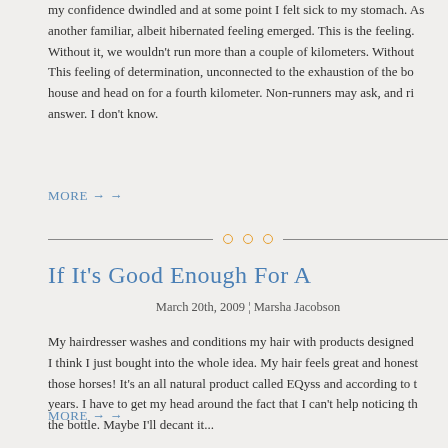my confidence dwindled and at some point I felt sick to my stomach. As another familiar, albeit hibernated feeling emerged. This is the feeling. Without it, we wouldn't run more than a couple of kilometers. Without This feeling of determination, unconnected to the exhaustion of the bo house and head on for a fourth kilometer. Non-runners may ask, and ri answer. I don't know.
MORE → →
If It's Good Enough For A
March 20th, 2009 ¦ Marsha Jacobson
My hairdresser washes and conditions my hair with products designed I think I just bought into the whole idea. My hair feels great and honest those horses! It's an all natural product called EQyss and according to t years. I have to get my head around the fact that I can't help noticing th the bottle. Maybe I'll decant it...
MORE → →